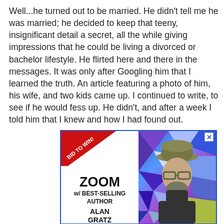Well...he turned out to be married. He didn't tell me he was married; he decided to keep that teeny, insignificant detail a secret, all the while giving impressions that he could be living a divorced or bachelor lifestyle. He flirted here and there in the messages. It was only after Googling him that I learned the truth. An article featuring a photo of him, his wife, and two kids came up. I continued to write, to see if he would fess up. He didn't, and after a week I told him that I knew and how I had found out.
[Figure (infographic): Advertisement banner: 'BID TO WIN! ZOOM w/ BEST-SELLING AUTHOR ALAN GRATZ' with a photo of a bearded man wearing a hat and glasses against a colorful geometric background.]